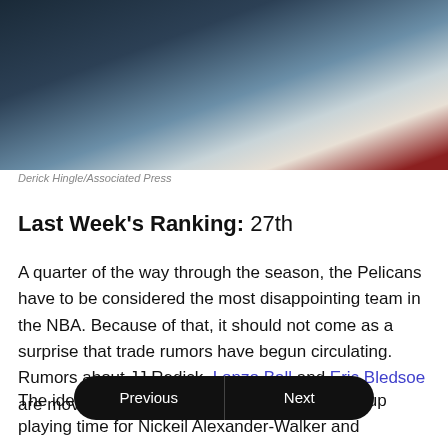[Figure (photo): Blurry sports photo with dark blue and teal tones, likely an NBA arena or player]
Derick Hingle/Associated Press
Last Week's Ranking: 27th
A quarter of the way through the season, the Pelicans have to be considered the most disappointing team in the NBA. Because of that, it should not come as a surprise that trade rumors have begun circulating. Rumors about JJ Redick, Lonzo Ball and Eric Bledsoe are moving around the NBA.
The idea behind trading these players is to open up playing time for Nickeil Alexander-Walker and